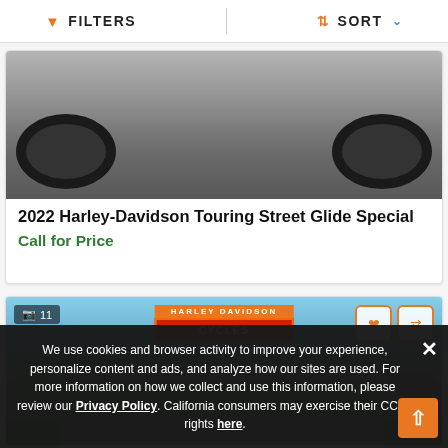FILTERS  SORT
[Figure (photo): Partial view of a motorcycle from below showing tires on asphalt pavement]
2022 Harley-Davidson Touring Street Glide Special
Call for Price
[Figure (photo): Harley-Davidson Cycles dealership sign with orange and red logo, trees in background]
We use cookies and browser activity to improve your experience, personalize content and ads, and analyze how our sites are used. For more information on how we collect and use this information, please review our Privacy Policy. California consumers may exercise their CCPA rights here.